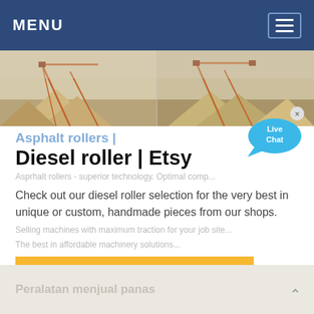MENU
[Figure (photo): Industrial quarry/mining site with conveyor structures and piles of aggregate material, two side-by-side panels]
Asphalt rollers |
Diesel roller | Etsy
[Figure (illustration): Live Chat speech bubble icon in blue]
Asprhalt rollers - superior technology. Optimal compaction...
Check out our diesel roller selection for the very best in unique or custom, handmade pieces from our shops.
Selling machines with maximum traction for your job site...
The best in affordable machinery solutions...
Peralatan menjual panas
Peralatan menjual panas (faded background)